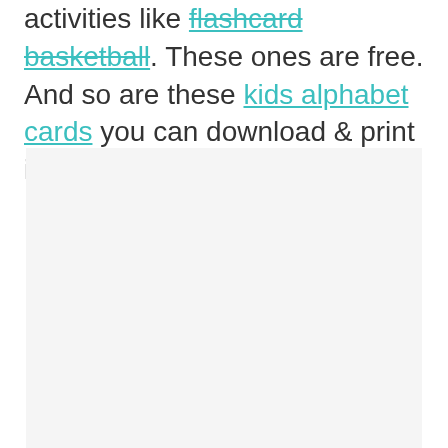activities like flashcard basketball. These ones are free. And so are these kids alphabet cards you can download & print instantly.
[Figure (photo): A light gray rectangular image placeholder occupying the lower portion of the page]